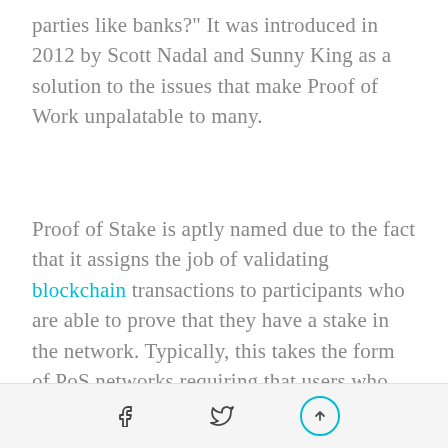parties like banks?" It was introduced in 2012 by Scott Nadal and Sunny King as a solution to the issues that make Proof of Work unpalatable to many.
Proof of Stake is aptly named due to the fact that it assigns the job of validating blockchain transactions to participants who are able to prove that they have a stake in the network. Typically, this takes the form of PoS networks requiring that users who want to verify transactions first prove their commitment by locking away a minimum amount of a specific digital asset in storage. These users are known as "validators", and the process of locking away their
[social icons: Facebook, Twitter, Scroll-to-top]